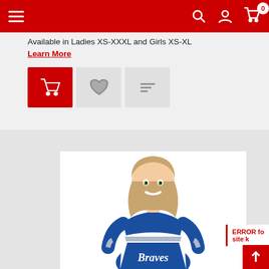Navigation bar with hamburger menu, search, account, and cart icons
Available in Ladies XS-XXXL and Girls XS-XL
Learn More
[Figure (screenshot): Three action buttons: red add-to-cart button, gray heart/wishlist button, gray compare button]
[Figure (photo): A smiling young woman wearing a blue and white Braves cheerleading uniform with silver accents]